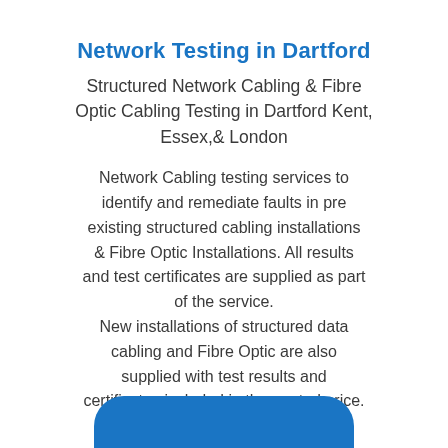Network Testing in Dartford
Structured Network Cabling & Fibre Optic Cabling Testing in Dartford Kent, Essex,& London
Network Cabling testing services to identify and remediate faults in pre existing structured cabling installations & Fibre Optic Installations. All results and test certificates are supplied as part of the service. New installations of structured data cabling and Fibre Optic are also supplied with test results and certificates included in the quoted price.